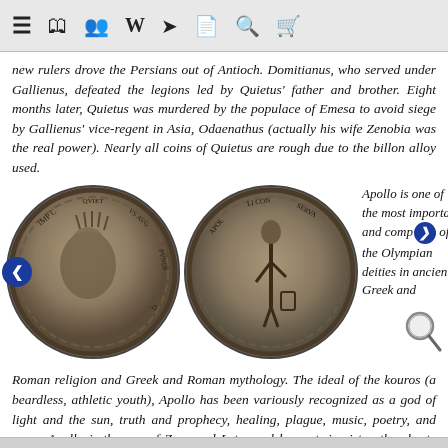Navigation bar with menu, store, people, Wikipedia, link, document, search, and cart icons
new rulers drove the Persians out of Antioch. Domitianus, who served under Gallienus, defeated the legions led by Quietus' father and brother. Eight months later, Quietus was murdered by the populace of Emesa to avoid siege by Gallienus' vice-regent in Asia, Odaenathus (actually his wife Zenobia was the real power). Nearly all coins of Quietus are rough due to the billon alloy used.
[Figure (photo): Two ancient Roman coins side by side. Left coin shows obverse with portrait of emperor Quietus with text around the edge. Right coin shows reverse with standing figure of Apollo and text around edge. Navigation arrows on left and right sides. Magnifier icon at bottom right of image area.]
Apollo is one of the most important and comp of the Olympian deities in ancient Greek and Roman religion and Greek and Roman mythology. The ideal of the kouros (a beardless, athletic youth), Apollo has been variously recognized as a god of light and the sun, truth and prophecy, healing, plague, music, poetry, and more. Apollo is the son of Zeus and Leto, and has a twin sister, the chaste huntress Artemis. This coin is dedicated to Apollo the Protector.